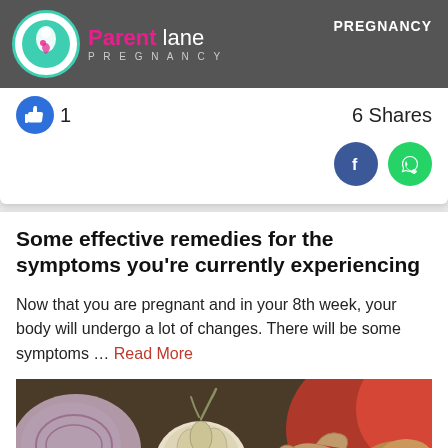Parentlane PREGNANCY | PREGNANCY
1
6 Shares
Some effective remedies for the symptoms you're currently experiencing
Now that you are pregnant and in your 8th week, your body will undergo a lot of changes. There will be some symptoms … Read More
[Figure (photo): Close-up photo of garlic, ginger, and onion — natural remedy ingredients on a dark background]